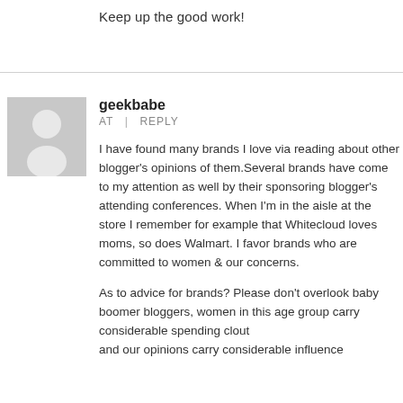Keep up the good work!
geekbabe
AT  |  REPLY
I have found many brands I love via reading about other blogger's opinions of them.Several brands have come to my attention as well by their sponsoring blogger's attending conferences. When I'm in the aisle at the store I remember for example that Whitecloud loves moms, so does Walmart. I favor brands who are committed to women & our concerns.
As to advice for brands? Please don't overlook baby boomer bloggers, women in this age group carry considerable spending clout and our opinions carry considerable influence